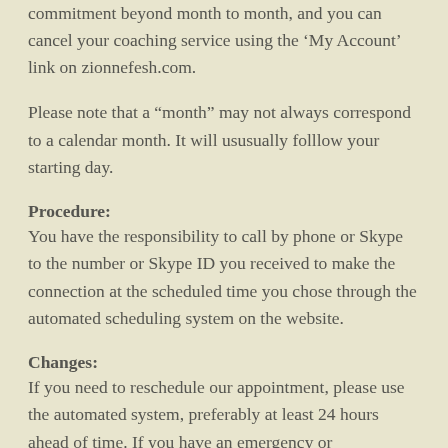commitment beyond month to month, and you can cancel your coaching service using the ‘My Account’ link on zionnefesh.com.
Please note that a “month” may not always correspond to a calendar month. It will ususually folllow your starting day.
Procedure:
You have the responsibility to call by phone or Skype to the number or Skype ID you received to make the connection at the scheduled time you chose through the automated scheduling system on the website.
Changes:
If you need to reschedule our appointment, please use the automated system, preferably at least 24 hours ahead of time. If you have an emergency or